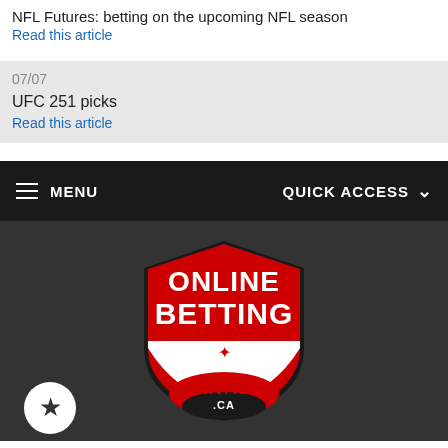NFL Futures: betting on the upcoming NFL season
Read this article
07/07
UFC 251 picks
Read this article
MENU
QUICK ACCESS
[Figure (logo): Online Betting Canada .CA shield logo in red and white]